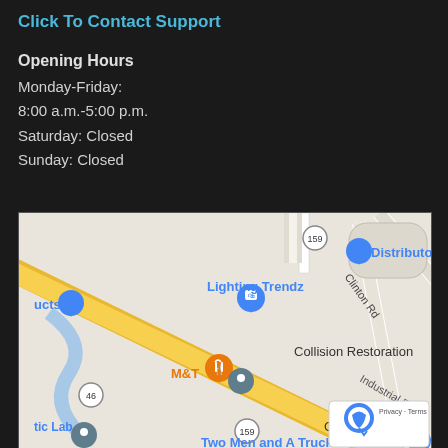Click To Contact Support
Opening Hours
Monday-Friday:
8:00 a.m.-5:00 p.m.
Saturday: Closed
Sunday: Closed
[Figure (map): Google Maps screenshot showing local area with a diagonal yellow road (Route 46), Clinton Rd, Industrial Rd, Route 159. Landmarks labeled: Lighting Trendz (blue pin), M&T (orange restaurant pin), Collision Restoration (gray pin), GasFlo R (partial), Two Men and A Truck (blue pin), Distributors (blue pin), ucts/tic Lab (partial labels). reCAPTCHA icon in bottom-right corner with Privacy and Terms links.]